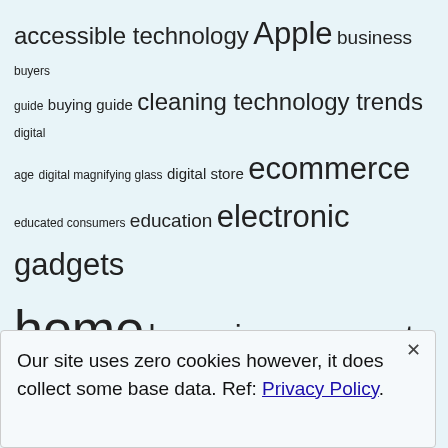[Figure (infographic): Tag cloud with technology-related terms in varying font sizes on light blue background. Terms include: accessible technology, Apple, business, buyers guide, buying guide, cleaning technology trends, digital age, digital magnifying glass, digital store, ecommerce, educated consumers, education, electronic gadgets, home, home improvement, informed shoppers, infrared Therapy for Painful Neuropathy, iPhone, iPhone 12, kitchen, Mobility, modern homes, modern living, online shopping, online shopping guide, online store, photography, purpose of technology, SEO, shopping guide, Social Interaction, social media, tech, Technologies for Neuropathy Sufferers, technology, technology's]
Our site uses zero cookies however, it does collect some base data. Ref: Privacy Policy.